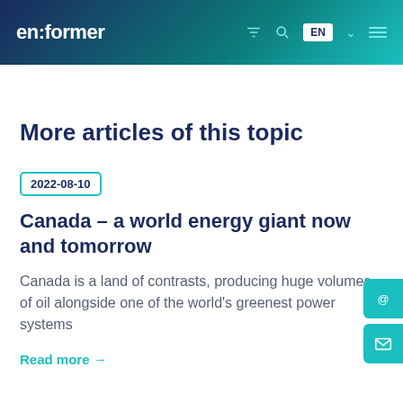en:former — EN navigation header
More articles of this topic
2022-08-10
Canada – a world energy giant now and tomorrow
Canada is a land of contrasts, producing huge volumes of oil alongside one of the world's greenest power systems
Read more →